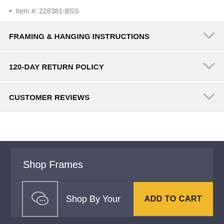Item #: 228381-BSS
FRAMING & HANGING INSTRUCTIONS
120-DAY RETURN POLICY
CUSTOMER REVIEWS
Shop Frames
Shop By Your
ADD TO CART